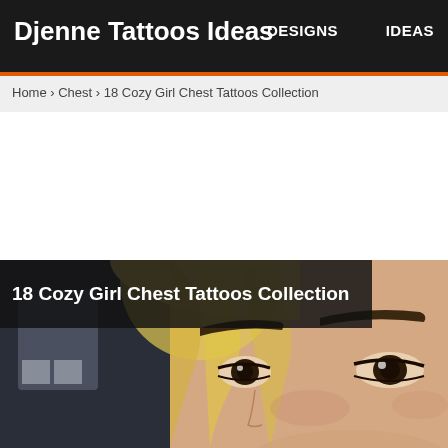Djenne Tattoos Ideas   DESIGNS   IDEAS
Home › Chest › 18 Cozy Girl Chest Tattoos Collection
[Figure (photo): Close-up selfie photo of a blonde woman showing face and heavily drawn eyebrows, with a dark overlay on left side containing the article title]
18 Cozy Girl Chest Tattoos Collection